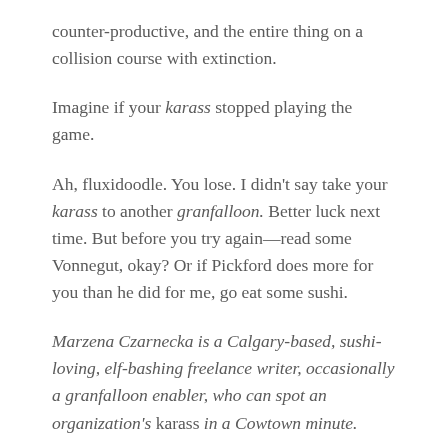counter-productive, and the entire thing on a collision course with extinction.
Imagine if your karass stopped playing the game.
Ah, fluxidoodle. You lose. I didn't say take your karass to another granfalloon. Better luck next time. But before you try again—read some Vonnegut, okay? Or if Pickford does more for you than he did for me, go eat some sushi.
Marzena Czarnecka is a Calgary-based, sushi-loving, elf-bashing freelance writer, occasionally a granfalloon enabler, who can spot an organization's karass in a Cowtown minute.